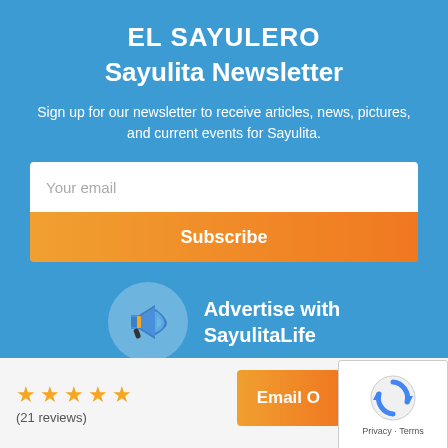EL SAYULERO
Sayulita Newsletter
Sign up for our newsletter to receive articles, news, pictures, and current events for Sayulita.
[Figure (screenshot): Email input field with placeholder text 'Your email']
[Figure (infographic): Megaphone icon in white circle with text 'Advertise with SayulitaLife']
★★★★★ (21 reviews)
Email O...
[Figure (logo): reCAPTCHA widget with Privacy and Terms text]